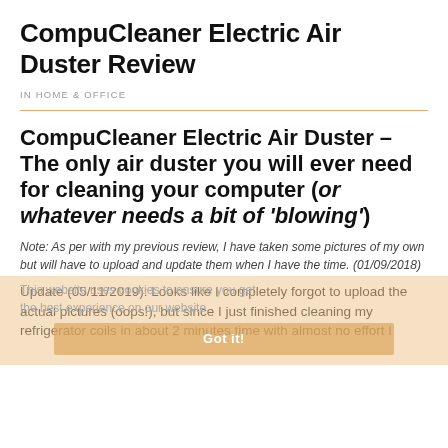CompuCleaner Electric Air Duster Review
IN HOME & OFFICE
CompuCleaner Electric Air Duster – The only air duster you will ever need for cleaning your computer (or whatever needs a bit of 'blowing')
Note: As per with my previous review, I have taken some pictures of my own but will have to upload and update them when I have the time. (01/09/2018)
Update (05/11/2019): Looks like I completely forgot to upload the actual pictures (oops!), but since I just finished cleaning my refrigerator coils in about 2 minutes time with almost no effort I